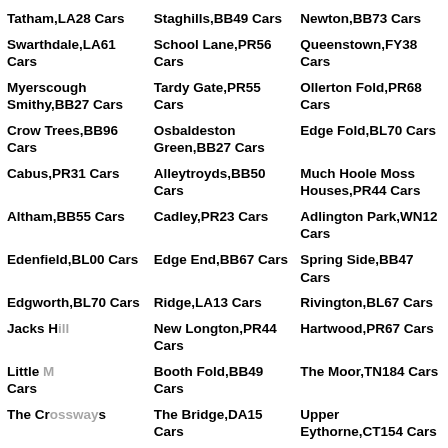Tatham,LA28 Cars
Staghills,BB49 Cars
Newton,BB73 Cars
Swarthdale,LA61 Cars
School Lane,PR56 Cars
Queenstown,FY38 Cars
Myerscough Smithy,BB27 Cars
Tardy Gate,PR55 Cars
Ollerton Fold,PR68 Cars
Crow Trees,BB96 Cars
Osbaldeston Green,BB27 Cars
Edge Fold,BL70 Cars
Cabus,PR31 Cars
Alleytroyds,BB50 Cars
Much Hoole Moss Houses,PR44 Cars
Altham,BB55 Cars
Cadley,PR23 Cars
Adlington Park,WN12 Cars
Edenfield,BL00 Cars
Edge End,BB67 Cars
Spring Side,BB47 Cars
Edgworth,BL70 Cars
Ridge,LA13 Cars
Rivington,BL67 Cars
Jacks Hill [partially obscured]
New Longton,PR44 Cars
Hartwood,PR67 Cars
Little [partially obscured] Cars
Booth Fold,BB49 Cars
The Moor,TN184 Cars
The Cr[obscured] Cars
The Bridge,DA15 Cars
Upper Eythorne,CT154 Cars
K[obscured]A99 Cars
Kippington,TN132 Cars
Dargate Common,ME139 Cars
Walters Green,TN118 Cars